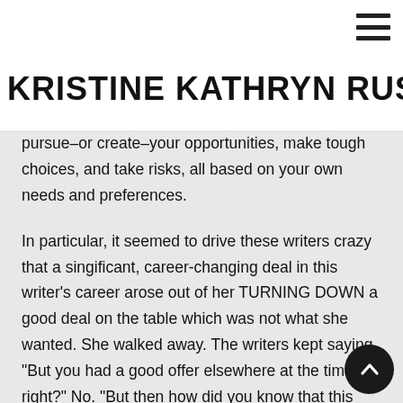KRISTINE KATHRYN RUSCH
pursue–or create–your opportunities, make tough choices, and take risks, all based on your own needs and preferences.
In particular, it seemed to drive these writers crazy that a singificant, career-changing deal in this writer's career arose out of her TURNING DOWN a good deal on the table which was not what she wanted. She walked away. The writers kept saying, "But you had a good offer elsewhere at the time, right?" No. "But then how did you know that this would turn out well." She didn't. She took a